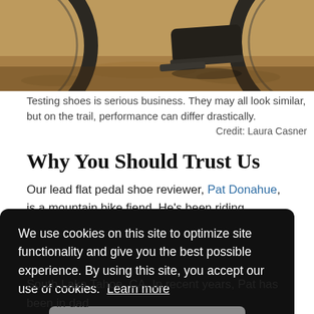[Figure (photo): Close-up photo of a mountain bike tire on sandy/dirt ground with a cyclist's shoe visible on the pedal, another tire visible on the right edge.]
Testing shoes is serious business. They may all look similar, but on the trail, performance can differ drastically.
Credit: Laura Casner
Why You Should Trust Us
Our lead flat pedal shoe reviewer, Pat Donahue, is a mountain bike fiend. He's been riding mountain bikes for …ty-fed …ing. …to a …ng …in …in
We use cookies on this site to optimize site functionality and give you the best possible experience. By using this site, you accept our use of cookies. Learn more
South Lake Tahoe, CA. In recent years, Pat has been in dad